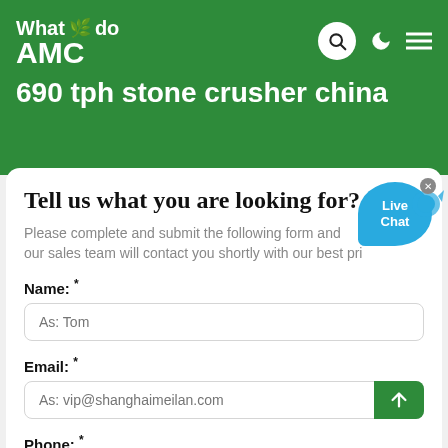What we do AMC 690 tph stone crusher china
Tell us what you are looking for?
Please complete and submit the following form and our sales team will contact you shortly with our best pri
Name: *
As: Tom
Email: *
As: vip@shanghaimeilan.com
Phone: *
With Country Code
The Location of the Project: